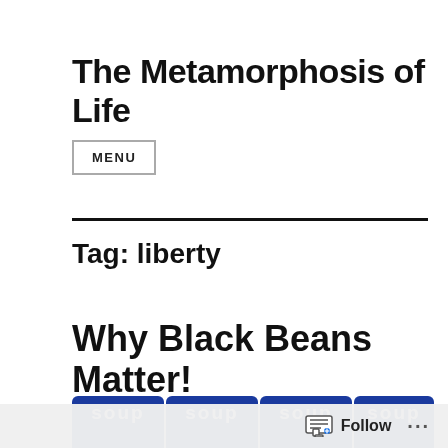The Metamorphosis of Life
MENU
Tag: liberty
Why Black Beans Matter!
[Figure (photo): Row of canned soup/bean product cans with blue labels showing 'soup' text, partially cropped at bottom of page]
Follow